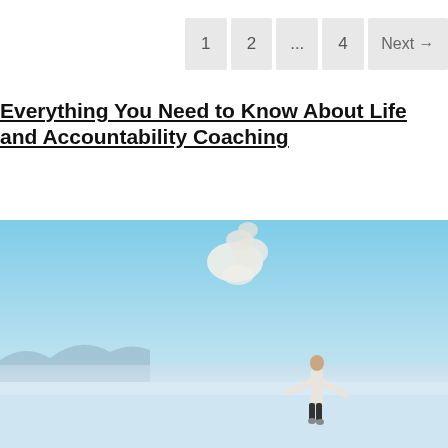1  2  ...  4  Next →
Everything You Need to Know About Life and Accountability Coaching
[Figure (photo): Person standing outdoors with arms wide open looking upward toward a cloud in the sky, with mountains and a misty reflective landscape in the background.]